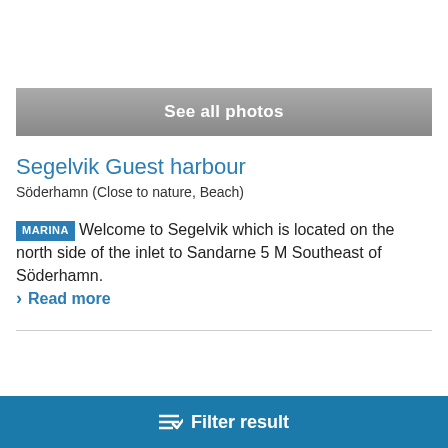[Figure (screenshot): Gray gradient bar with text 'See all photos']
Segelvik Guest harbour
Söderhamn (Close to nature, Beach)
MARINA Welcome to Segelvik which is located on the north side of the inlet to Sandarne 5 M Southeast of Söderhamn.
Read more
Filter result